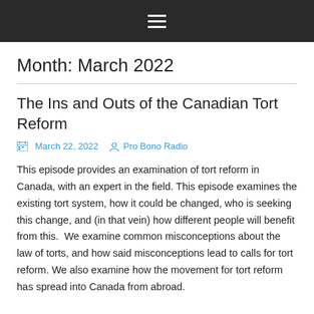≡
Month: March 2022
The Ins and Outs of the Canadian Tort Reform
March 22, 2022  Pro Bono Radio
This episode provides an examination of tort reform in Canada, with an expert in the field. This episode examines the existing tort system, how it could be changed, who is seeking this change, and (in that vein) how different people will benefit from this.  We examine common misconceptions about the law of torts, and how said misconceptions lead to calls for tort reform. We also examine how the movement for tort reform has spread into Canada from abroad.